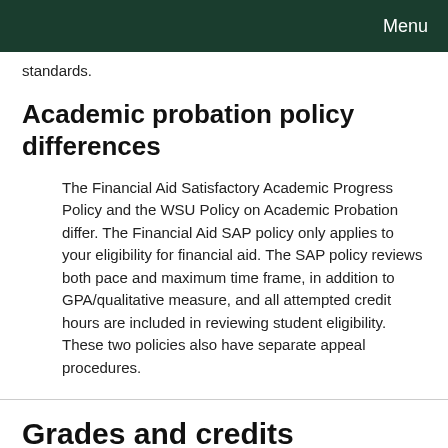Menu
standards.
Academic probation policy differences
The Financial Aid Satisfactory Academic Progress Policy and the WSU Policy on Academic Probation differ. The Financial Aid SAP policy only applies to your eligibility for financial aid. The SAP policy reviews both pace and maximum time frame, in addition to GPA/qualitative measure, and all attempted credit hours are included in reviewing student eligibility. These two policies also have separate appeal procedures.
Grades and credits